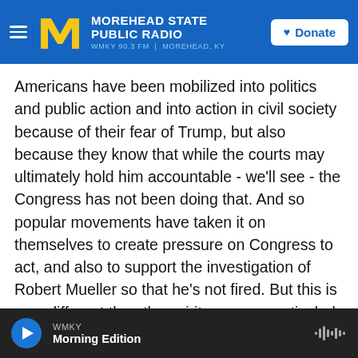MOREHEAD STATE PUBLIC RADIO — WMKY 90.3 FM | MOREHEAD, KY — Donate
Americans have been mobilized into politics and public action and into action in civil society because of their fear of Trump, but also because they know that while the courts may ultimately hold him accountable - we'll see - the Congress has not been doing that. And so popular movements have taken it on themselves to create pressure on Congress to act, and also to support the investigation of Robert Mueller so that he's not fired. But this is very different than the spirit you saw particularly in the final stages of Watergate.
GROSS: My guests are E.J. Dionne and Norm
WMKY — Morning Edition